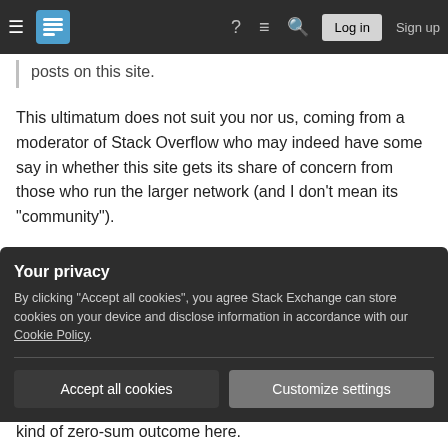Stack Exchange navigation bar with hamburger menu, logo, help, chat, search, Log in, Sign up
posts on this site.
This ultimatum does not suit you nor us, coming from a moderator of Stack Overflow who may indeed have some say in whether this site gets its share of concern from those who run the larger network (and I don't mean its "community").
In addition, I don't like the idea that a rules dispute can be invented by someone with sufficient pull in the administration (whether through rank or,
Your privacy
By clicking "Accept all cookies", you agree Stack Exchange can store cookies on your device and disclose information in accordance with our Cookie Policy.
Accept all cookies  Customize settings
kind of zero-sum outcome here.